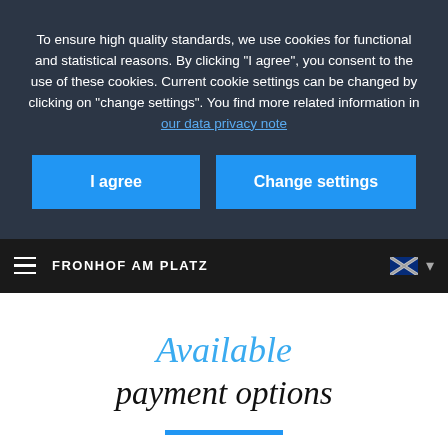To ensure high quality standards, we use cookies for functional and statistical reasons. By clicking "I agree", you consent to the use of these cookies. Current cookie settings can be changed by clicking on "change settings". You find more related information in our data privacy note
I agree
Change settings
FRONHOF AM PLATZ
Available payment options